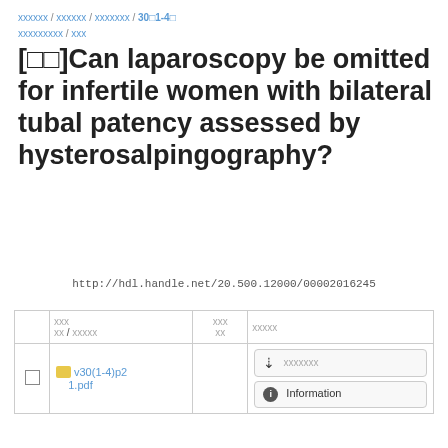xxxxxx / xxxxxx / xxxxxxx / 30x1-4x / xxxxxxxxx / xxx
[xx]Can laparoscopy be omitted for infertile women with bilateral tubal patency assessed by hysterosalpingography?
http://hdl.handle.net/20.500.12000/00002016245
|  | xx / xxxxx | xxx xx | xxxxx |
| --- | --- | --- | --- |
| ☐ | v30(1-4)p21.pdf |  | xxxxxxx / Information |